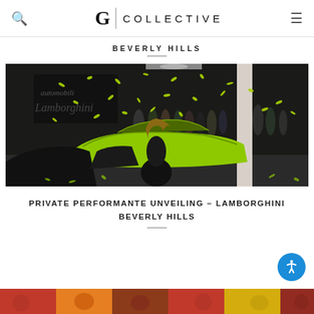G | COLLECTIVE — navigation header with search and menu icons
BEVERLY HILLS
[Figure (photo): Indoor car unveiling event. A neon green Lamborghini Performante is being revealed at a dealership, covered in green confetti. A woman in black dress faces the car while crowd watches in background.]
PRIVATE PERFORMANTE UNVEILING – LAMBORGHINI BEVERLY HILLS
[Figure (photo): Partial color strip at bottom of page — cropped image strip showing colorful crowd/event photos]